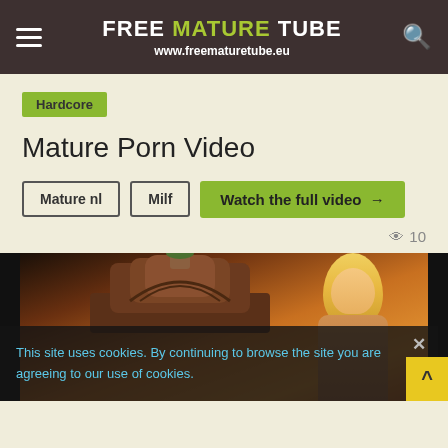FREE MATURE TUBE www.freematuretube.eu
Hardcore
Mature Porn Video
Mature nl
Milf
Watch the full video →
👁 10
[Figure (photo): Video thumbnail showing a blonde woman in a bedroom setting with an ornate headboard, warm orange/amber background lighting]
This site uses cookies. By continuing to browse the site you are agreeing to our use of cookies.